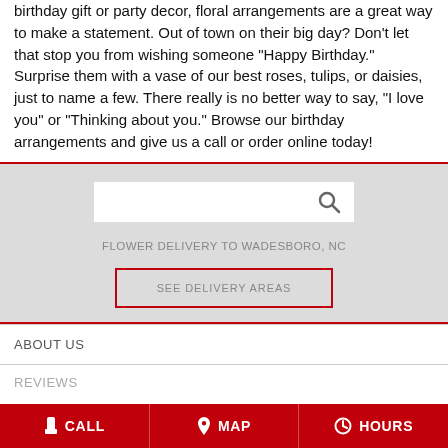birthday gift or party decor, floral arrangements are a great way to make a statement. Out of town on their big day? Don't let that stop you from wishing someone "Happy Birthday." Surprise them with a vase of our best roses, tulips, or daisies, just to name a few. There really is no better way to say, "I love you" or "Thinking about you." Browse our birthday arrangements and give us a call or order online today!
[Figure (screenshot): Search box with magnifying glass icon on gray background]
FLOWER DELIVERY TO WADESBORO, NC
SEE DELIVERY AREAS
ABOUT US
REVIEWS
CALL   MAP   HOURS